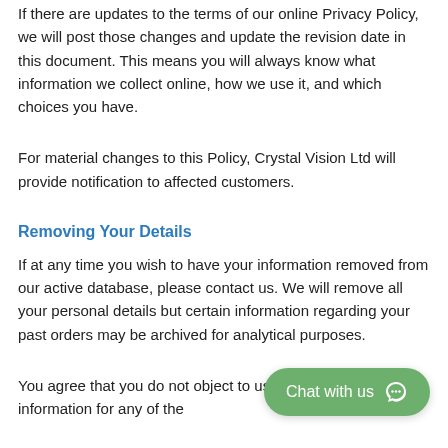If there are updates to the terms of our online Privacy Policy, we will post those changes and update the revision date in this document. This means you will always know what information we collect online, how we use it, and which choices you have.
For material changes to this Policy, Crystal Vision Ltd will provide notification to affected customers.
Removing Your Details
If at any time you wish to have your information removed from our active database, please contact us. We will remove all your personal details but certain information regarding your past orders may be archived for analytical purposes.
You agree that you do not object to us using your personal information for any of the purposes outlined in this privacy policy.